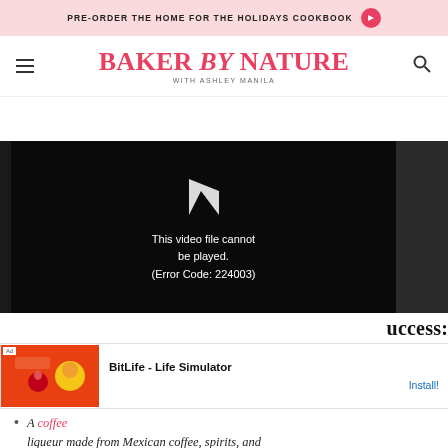PRE-ORDER THE HOME FOR THE HOLIDAYS COOKBOOK →
BAKER by NATURE WITH ASHLEY MANILA
[Figure (screenshot): Video player showing error: This video file cannot be played. (Error Code: 224003)]
uccess:
[Figure (screenshot): Ad banner: BitLife - Life Simulator, Install!]
A coffee liqueur made from Mexican coffee, spirits, and